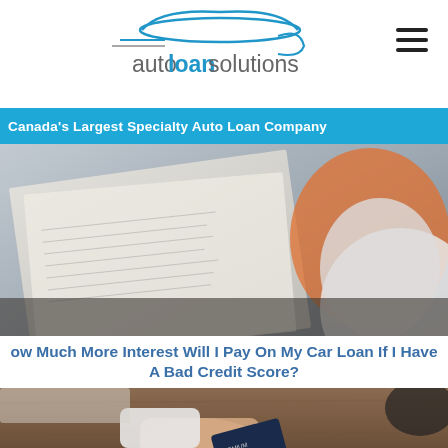[Figure (logo): Auto Loan Solutions logo with cloud arc graphic and blue/gray text]
Canada's Largest Specialty Auto Loan Company
[Figure (photo): Person with papers on a desk, orange and white clothing visible, top half hero image]
How Much More Interest Will I Pay On My Car Loan If I Have A Bad Credit Score?
[Figure (photo): Hand holding a premium credit card over a wooden table surface, bottom hero image]